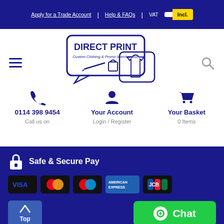Apply for a Trade Account | Help & FAQs | VAT Incl.
[Figure (logo): Direct Print logo — speech bubble containing DIRECT PRINT text and Custom Clothing & Promo Merchandise tagline with pen, bag and t-shirt icons]
0114 398 9454
Call us on
Your Account
Login / Register
Your Basket
0 Items
Safe & Secure Pay
[Figure (infographic): Payment method badges: VISA, Mastercard, Maestro, American Express, JCB]
Top
Chat